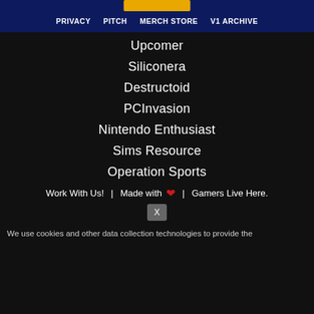PRIVACY  PITCH  MERCH STORE  V1 ARCHIVE
Upcomer
Siliconera
Destructoid
PCInvasion
Nintendo Enthusiast
Sims Resource
Operation Sports
Work With Us!  |  Made with ♥  |  Gamers Live Here.
We use cookies and other data collection technologies to provide the